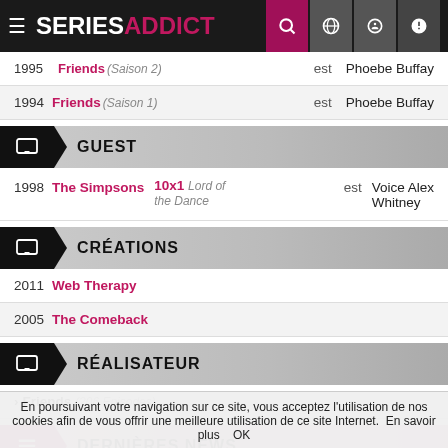SERIES ADDICT
| Year | Show | Episode | est | Role |
| --- | --- | --- | --- | --- |
| 1995 | Friends (Saison 2) |  | est | Phoebe Buffay |
| 1994 | Friends (Saison 1) |  | est | Phoebe Buffay |
GUEST
| Year | Show | Episode | est | Role |
| --- | --- | --- | --- | --- |
| 1998 | The Simpsons | 10x1 Lord of the Dance | est | Voice Alex Whitney |
CRÉATIONS
| Year | Show |
| --- | --- |
| 2011 | Web Therapy |
| 2005 | The Comeback |
RÉALISATEUR
Friends (206 Episodes)
DERNIÈRES NEWS
En poursuivant votre navigation sur ce site, vous acceptez l'utilisation de nos cookies afin de vous offrir une meilleure utilisation de ce site Internet. En savoir plus OK